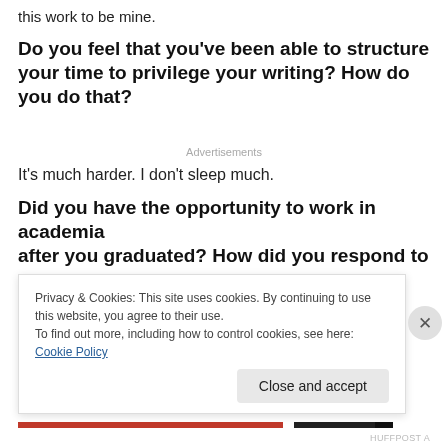this work to be mine.
Do you feel that you've been able to structure your time to privilege your writing? How do you do that?
Advertisements
It's much harder. I don't sleep much.
Did you have the opportunity to work in academia after you graduated? How did you respond to that
Privacy & Cookies: This site uses cookies. By continuing to use this website, you agree to their use.
To find out more, including how to control cookies, see here: Cookie Policy